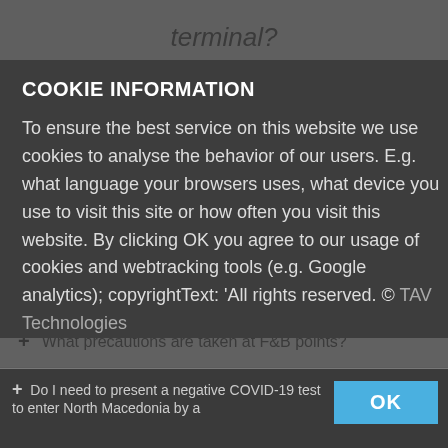terminal?
+ What precautions are taken at lounges?
COOKIE INFORMATION
To ensure the best service on this website we use cookies to analyse the behavior of our users. E.g. what language your browsers uses, what device you use to visit this site or how often you visit this website. By clicking OK you agree to our usage of cookies and webtracking tools (e.g. Google analytics); copyrightText: 'All rights reserved. © TAV Technologies
+ What precautions are taken at F&B points?
+ What precautions are taken at duty-free shops?
+ What are new rules during boarding?
+ Do I need to present a negative COVID-19 test to enter North Macedonia by a